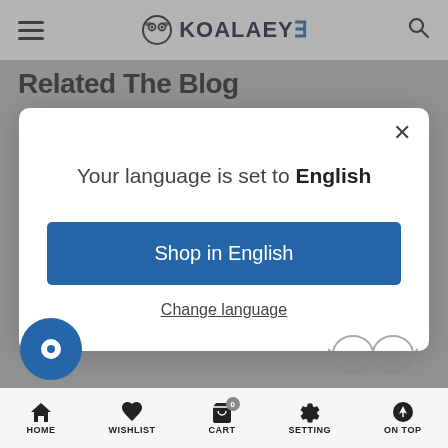KOALAEYE
Related The Blog
[Figure (screenshot): Modal dialog on a website saying 'Your language is set to English' with a blue 'Shop in English' button and a 'Change language' link. Behind the modal is the KoalaEye website with a navigation bar and 'Related The Blog' section header. At the bottom is a navigation bar with HOME, WISHLIST, CART, SETTING, ON TOP icons.]